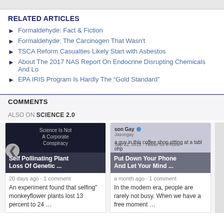RELATED ARTICLES
Formaldehyde: Fact & Fiction
Formaldehyde: The Carcinogen That Wasn't
TSCA Reform Casualties Likely Start with Asbestos
About The 2017 NAS Report On Endocrine Disrupting Chemicals And Lo…
EPA IRIS Program Is Hardly The "Gold Standard"
COMMENTS
ALSO ON SCIENCE 2.0
[Figure (screenshot): Card thumbnail showing dark background with 'Science Is Not A Corporate Conspiracy' text and headline 'Self Pollinating Plant Loss Of Genetic ...']
20 days ago · 1 comment
An experiment found that selfing" monkeyflower plants lost 13 percent to 24 …
[Figure (screenshot): Card thumbnail showing a tweet from Jason Gay with blue verified checkmark and headline 'Put Down Your Phone And Let Your Mind ...']
a month ago · 1 comment
In the modern era, people are rarely not busy. When we have a free moment …